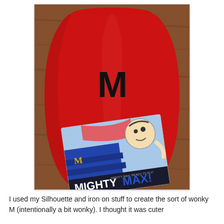[Figure (photo): Photo of a red drawstring bag/cape with a large black letter 'M' on it, and a children's book titled 'Mighty Max!' placed in front of it on a wooden surface. The book cover shows a cartoon superhero child flying with a cape marked with 'M'.]
I used my Silhouette and iron on stuff to create the sort of wonky M (intentionally a bit wonky). I thought it was cuter